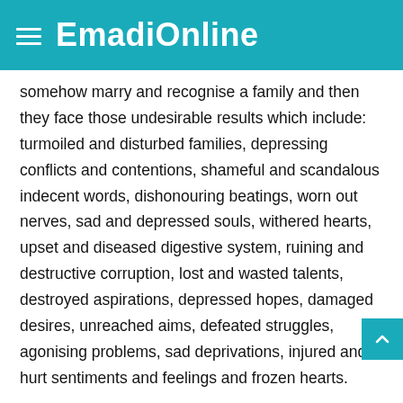EmadiOnline
somehow marry and recognise a family and then they face those undesirable results which include: turmoiled and disturbed families, depressing conflicts and contentions, shameful and scandalous indecent words, dishonouring beatings, worn out nerves, sad and depressed souls, withered hearts, upset and diseased digestive system, ruining and destructive corruption, lost and wasted talents, destroyed aspirations, depressed hopes, damaged desires, unreached aims, defeated struggles, agonising problems, sad deprivations, injured and hurt sentiments and feelings and frozen hearts.
And the after-fruits of this thorny garden are untrained,